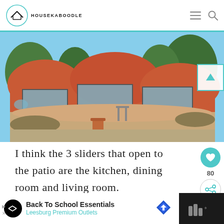HOUSEKABOODLE
[Figure (photo): Exterior of a rounded, dome-shaped orange/terracotta adobe-style home with sliding glass doors opening onto a concrete patio. Trees visible in background, terracotta pot in foreground.]
I think the 3 sliders that open to the patio are the kitchen, dining room and living room.
[Figure (infographic): Ad banner: Back To School Essentials - Leesburg Premium Outlets]
Back To School Essentials
Leesburg Premium Outlets